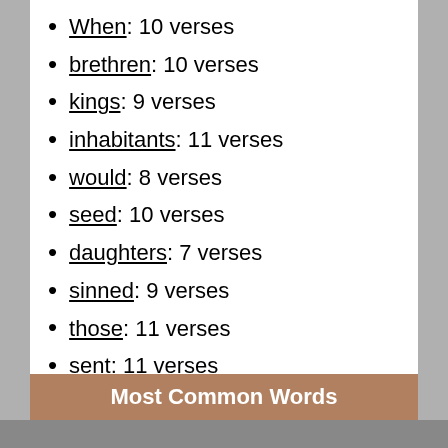When: 10 verses
brethren: 10 verses
kings: 9 verses
inhabitants: 11 verses
would: 8 verses
seed: 10 verses
daughters: 7 verses
sinned: 9 verses
those: 11 verses
sent: 11 verses
glory: 11 verses
Most Common Words